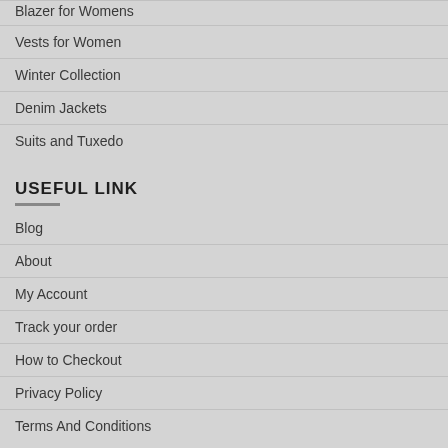Blazer for Womens
Vests for Women
Winter Collection
Denim Jackets
Suits and Tuxedo
USEFUL LINK
Blog
About
My Account
Track your order
How to Checkout
Privacy Policy
Terms And Conditions